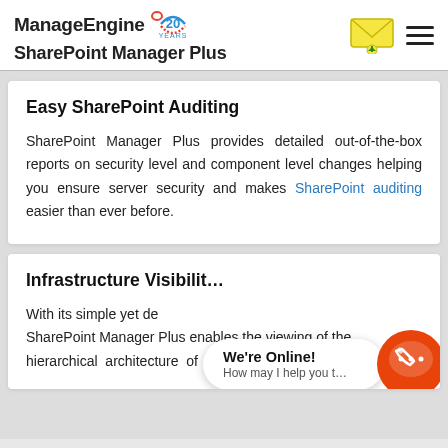ManageEngine 20 YEARS | SharePoint Manager Plus
Easy SharePoint Auditing
SharePoint Manager Plus provides detailed out-of-the-box reports on security level and component level changes helping you ensure server security and makes SharePoint auditing easier than ever before.
Infrastructure Visibility
With its simple yet detailed dashboard, SharePoint Manager Plus enables the viewing of the hierarchical architecture of your entire SharePoint